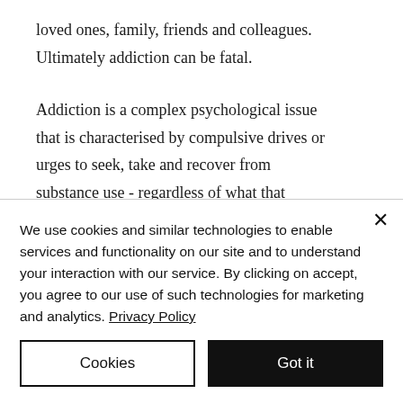loved ones, family, friends and colleagues. Ultimately addiction can be fatal.
Addiction is a complex psychological issue that is characterised by compulsive drives or urges to seek, take and recover from substance use - regardless of what that 'drug of choice' may be. Despite varied negative consequences and risks, a person with an issue of dependence or addiction will find...
We use cookies and similar technologies to enable services and functionality on our site and to understand your interaction with our service. By clicking on accept, you agree to our use of such technologies for marketing and analytics. Privacy Policy